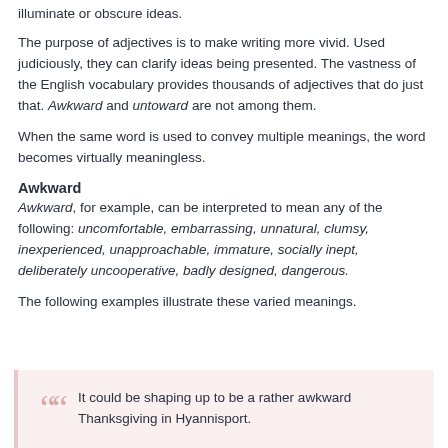illuminate or obscure ideas.
The purpose of adjectives is to make writing more vivid. Used judiciously, they can clarify ideas being presented. The vastness of the English vocabulary provides thousands of adjectives that do just that. Awkward and untoward are not among them.
When the same word is used to convey multiple meanings, the word becomes virtually meaningless.
Awkward
Awkward, for example, can be interpreted to mean any of the following: uncomfortable, embarrassing, unnatural, clumsy, inexperienced, unapproachable, immature, socially inept, deliberately uncooperative, badly designed, dangerous.
The following examples illustrate these varied meanings.
It could be shaping up to be a rather awkward Thanksgiving in Hyannisport.